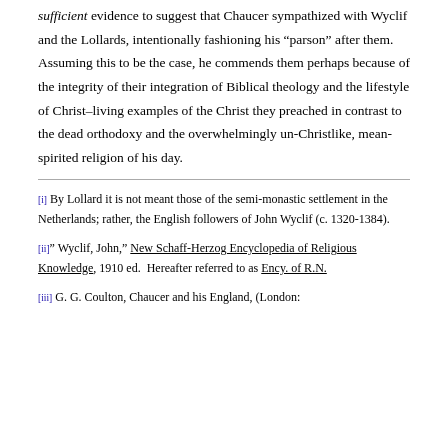sufficient evidence to suggest that Chaucer sympathized with Wyclif and the Lollards, intentionally fashioning his “parson” after them. Assuming this to be the case, he commends them perhaps because of the integrity of their integration of Biblical theology and the lifestyle of Christ–living examples of the Christ they preached in contrast to the dead orthodoxy and the overwhelmingly un-Christlike, mean-spirited religion of his day.
[i] By Lollard it is not meant those of the semi-monastic settlement in the Netherlands; rather, the English followers of John Wyclif (c. 1320-1384).
[ii] “ Wyclif, John,” New Schaff-Herzog Encyclopedia of Religious Knowledge, 1910 ed. Hereafter referred to as Ency. of R.N.
[iii] G. G. Coulton, Chaucer and his England, (London: